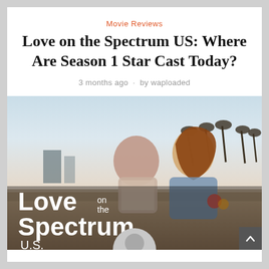Movie Reviews
Love on the Spectrum US: Where Are Season 1 Star Cast Today?
3 months ago · by waploaded
[Figure (photo): A man and woman sitting on a beach at dusk with palm trees in the background, with 'Love on the Spectrum U.S.' title overlay and a user avatar circle at the bottom center.]